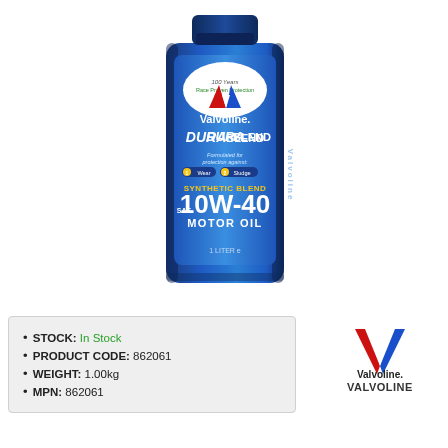[Figure (photo): Valvoline DuraBlend Synthetic Blend SAE 10W-40 Motor Oil 1 Liter bottle with blue label, red and blue V logo, showing '100 Years Race Proven Protection' badge]
STOCK: In Stock
PRODUCT CODE: 862061
WEIGHT: 1.00kg
MPN: 862061
[Figure (logo): Valvoline logo with red and blue V chevron mark and 'Valvoline.' text below]
VALVOLINE